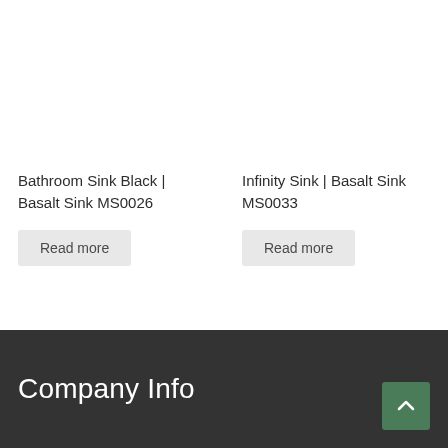Bathroom Sink Black | Basalt Sink MS0026
Read more
Infinity Sink | Basalt Sink MS0033
Read more
Company Info